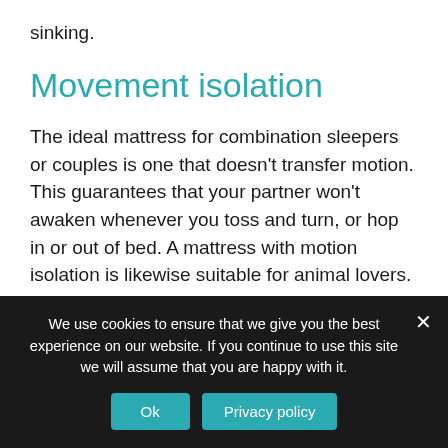sinking.
Movement isolation
The ideal mattress for combination sleepers or couples is one that doesn't transfer motion. This guarantees that your partner won't awaken whenever you toss and turn, or hop in or out of bed. A mattress with motion isolation is likewise suitable for animal lovers.
The Saatva mattress satisfies this standard.
We use cookies to ensure that we give you the best experience on our website. If you continue to use this site we will assume that you are happy with it.